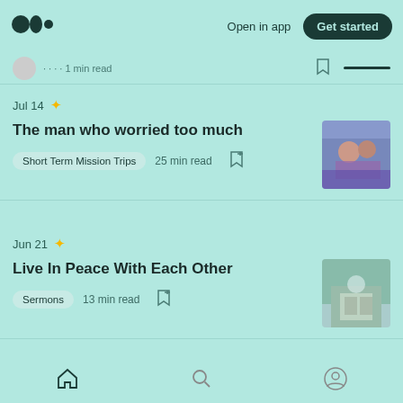Medium logo | Open in app | Get started
Jul 14 ✦ The man who worried too much | Short Term Mission Trips · 25 min read
Jun 21 ✦ Live In Peace With Each Other | Sermons · 13 min read
Jun 16 ✦
Home | Search | Profile